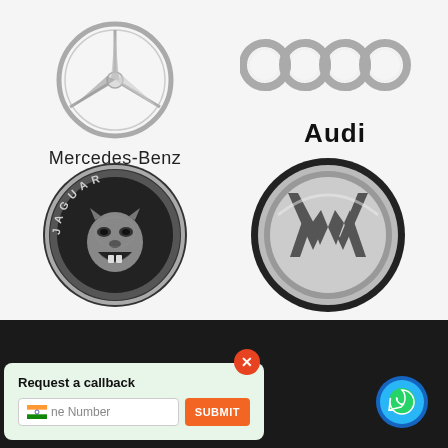[Figure (logo): Mercedes-Benz logo (three-pointed star in circle) with text Mercedes-Benz below]
[Figure (logo): Audi logo (four interlocking rings) with text Audi below in bold]
[Figure (logo): Jaguar logo (circular chrome badge with roaring jaguar head and text JAGUAR around the ring)]
[Figure (logo): Volkswagen logo (VW letters inside a circular chrome badge)]
[Figure (screenshot): Dark bottom bar with a callback popup widget showing 'Request a callback', Indian flag phone input, and orange SUBMIT button, plus a WhatsApp chat button on the right]